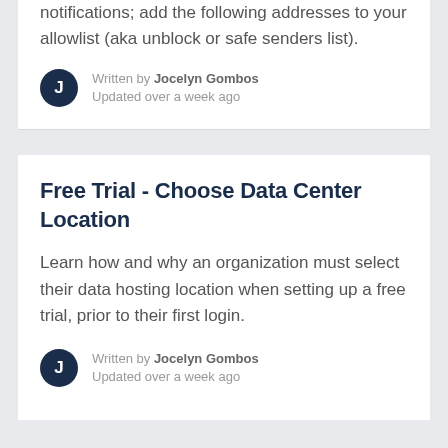notifications; add the following addresses to your allowlist (aka unblock or safe senders list).
Written by Jocelyn Gombos
Updated over a week ago
Free Trial - Choose Data Center Location
Learn how and why an organization must select their data hosting location when setting up a free trial, prior to their first login.
Written by Jocelyn Gombos
Updated over a week ago